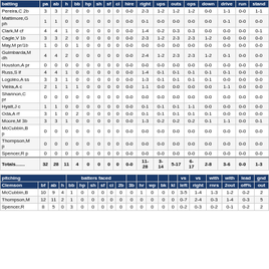| batting | pa | ab | h | bb | hp | sh | sf | ci | hire | right | ups | outs | ops | down | drive | run | stand |
| --- | --- | --- | --- | --- | --- | --- | --- | --- | --- | --- | --- | --- | --- | --- | --- | --- | --- |
| Pereira,C 2b | 3 | 3 | 2 | 0 | 0 | 0 | 0 | 0 | 0-0 | 2-3 | 1-2 | 1-2 | 1-2 | 0-0 | 1-1 | 0-0 | 1-1 |
| Mattimore,G ph | 1 | 1 | 0 | 0 | 0 | 0 | 0 | 0 | 0-0 | 0-1 | 0-0 | 0-0 | 0-0 | 0-0 | 0-1 | 0-0 | 0-0 |
| Clark,M cf | 4 | 4 | 1 | 0 | 0 | 0 | 0 | 0 | 0-0 | 1-4 | 0-2 | 0-3 | 0-3 | 0-0 | 0-0 | 0-0 | 0-1 |
| Cagle,V 1b | 3 | 3 | 2 | 0 | 0 | 0 | 0 | 0 | 0-0 | 2-3 | 1-2 | 2-3 | 2-3 | 1-2 | 0-0 | 0-0 | 0-0 |
| May,M pr/1b | 1 | 0 | 0 | 1 | 0 | 0 | 0 | 0 | 0-0 | 0-0 | 0-0 | 0-0 | 0-0 | 0-0 | 0-0 | 0-0 | 0-0 |
| Guimbarda,M dh | 4 | 4 | 2 | 0 | 0 | 0 | 0 | 0 | 0-0 | 2-4 | 1-2 | 2-3 | 2-3 | 1-2 | 0-1 | 0-0 | 0-0 |
| Houston,A pr | 0 | 0 | 0 | 0 | 0 | 0 | 0 | 0 | 0-0 | 0-0 | 0-0 | 0-0 | 0-0 | 0-0 | 0-0 | 0-0 | 0-0 |
| Russ,S lf | 4 | 4 | 1 | 0 | 0 | 0 | 0 | 0 | 0-0 | 1-4 | 0-1 | 0-1 | 0-1 | 0-1 | 0-1 | 0-0 | 0-0 |
| Logoleo,A ss | 3 | 3 | 1 | 0 | 0 | 0 | 0 | 0 | 0-0 | 1-3 | 0-1 | 0-1 | 0-1 | 0-1 | 0-0 | 0-0 | 0-0 |
| Vieira,A c | 2 | 1 | 1 | 1 | 0 | 0 | 0 | 0 | 0-0 | 1-1 | 0-0 | 0-0 | 0-0 | 0-0 | 1-1 | 0-0 | 0-0 |
| Shannon,C pr | 0 | 0 | 0 | 0 | 0 | 0 | 0 | 0 | 0-0 | 0-0 | 0-0 | 0-0 | 0-0 | 0-0 | 0-0 | 0-0 | 0-0 |
| Hyatt,J c | 1 | 1 | 0 | 0 | 0 | 0 | 0 | 0 | 0-0 | 0-1 | 0-1 | 0-1 | 1-1 | 0-0 | 0-0 | 0-0 | 0-0 |
| Oda,A rf | 3 | 1 | 0 | 2 | 0 | 0 | 0 | 0 | 0-0 | 0-1 | 0-1 | 0-1 | 0-1 | 0-1 | 0-0 | 0-0 | 0-0 |
| Moore,M 3b | 3 | 3 | 1 | 0 | 0 | 0 | 0 | 0 | 0-0 | 1-3 | 0-2 | 0-2 | 0-2 | 0-1 | 1-1 | 0-0 | 0-1 |
| McCubbin,B p | 0 | 0 | 0 | 0 | 0 | 0 | 0 | 0 | 0-0 | 0-0 | 0-0 | 0-0 | 0-0 | 0-0 | 0-0 | 0-0 | 0-0 |
| Thompson,M p | 0 | 0 | 0 | 0 | 0 | 0 | 0 | 0 | 0-0 | 0-0 | 0-0 | 0-0 | 0-0 | 0-0 | 0-0 | 0-0 | 0-0 |
| Spencer,R p | 0 | 0 | 0 | 0 | 0 | 0 | 0 | 0 | 0-0 | 0-0 | 0-0 | 0-0 | 0-0 | 0-0 | 0-0 | 0-0 | 0-0 |
| Totals....... | 32 | 28 | 11 | 4 | 0 | 0 | 0 | 0 | 0-0 | 11-28 | 3-14 | 5-17 | 6-17 | 2-8 | 3-6 | 0-0 | 1-3 |
| pitching Clemson | bf | ab | h | bb | hp | sh | sf | ci | 2b | 3b | hr | wp | bk | kl | vs left | vs right | with rnrs | with 2out | lead off% | gnd out |
| --- | --- | --- | --- | --- | --- | --- | --- | --- | --- | --- | --- | --- | --- | --- | --- | --- | --- | --- | --- | --- |
| McCubbin,B | 10 | 9 | 4 | 1 | 0 | 0 | 0 | 0 | 0 | 0 | 1 | 0 | 0 | 0 | 3-5 | 1-4 | 1-3 | 1-2 | 0-2 | 2 |
| Thompson,M | 12 | 11 | 2 | 1 | 0 | 0 | 0 | 0 | 0 | 0 | 0 | 0 | 0 | 0 | 0-7 | 2-4 | 0-3 | 1-4 | 0-3 | 5 |
| Spencer,R | 8 | 5 | 0 | 3 | 0 | 0 | 0 | 0 | 0 | 0 | 0 | 0 | 0 | 0 | 0-2 | 0-3 | 0-2 | 0-1 | 0-2 | 2 |